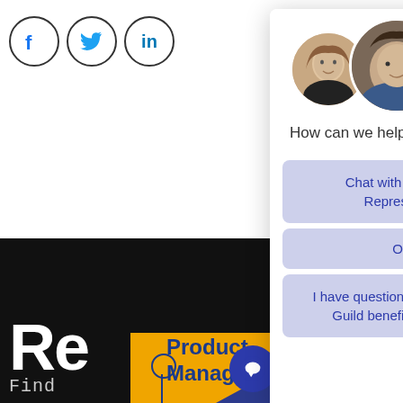[Figure (screenshot): Background webpage with social media icons (Facebook, Twitter, LinkedIn) in top-left, dark background section with large 'Re' text and 'Find' text, yellow and navy 'Product Manager' section at bottom, and a chat bubble icon.]
[Figure (other): Chat popup widget showing three circular profile photos of support staff, the question 'How can we help you today?' and three clickable options: 'Chat with Admissions Representative', 'Other', and 'I have questions about using my Guild benefit with Thinkful'.]
How can we help you today?
Chat with Admissions Representative
Other
I have questions about using my Guild benefit with Thinkful